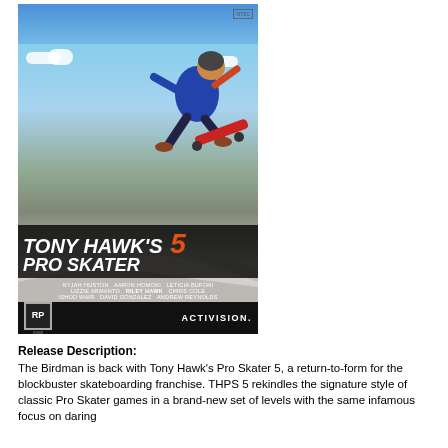[Figure (photo): Xbox 360 game box cover for Tony Hawk's Pro Skater 5, showing a skateboarder doing a trick, with skate park background, game title, pro skaters listed, RP rating, and Activision logo]
Release Description:
The Birdman is back with Tony Hawk's Pro Skater 5, a return-to-form for the blockbuster skateboarding franchise. THPS 5 rekindles the signature style of classic Pro Skater games in a brand-new set of levels with the same infamous focus on daring